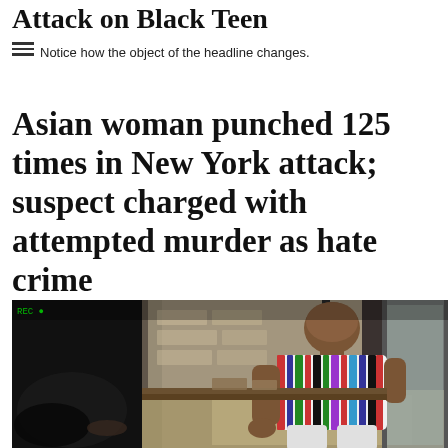Attack on Black Teen
Notice how the object of the headline changes.
Asian woman punched 125 times in New York attack; suspect charged with attempted murder as hate crime
[Figure (photo): Security camera footage showing a large man in a striped shirt leaning over a counter, apparently attacking someone below.]